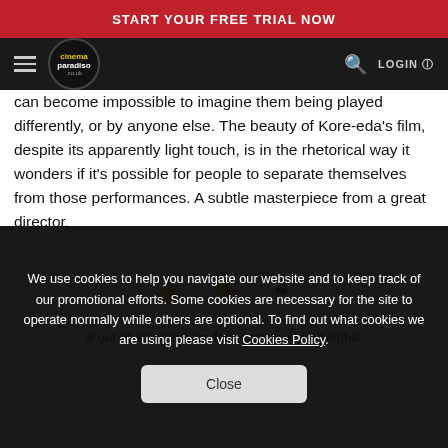START YOUR FREE TRIAL NOW
[Figure (logo): Cinema Paradiso logo in navigation bar with hamburger menu, search icon and LOGIN link]
can become impossible to imagine them being played differently, or by anyone else. The beauty of Kore-eda's film, despite its apparently light touch, is in the rhetorical way it wonders if it's possible for people to separate themselves from those performances. A subtle masterpiece from a great director.
[Figure (other): Three icon buttons: thumbs up, thumbs down, and flag]
8 out of 10 members found this review helpful.
We use cookies to help you navigate our website and to keep track of our promotional efforts. Some cookies are necessary for the site to operate normally while others are optional. To find out what cookies we are using please visit Cookies Policy.